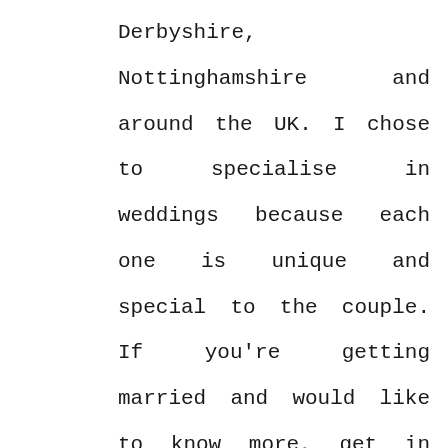Derbyshire, Nottinghamshire and around the UK. I chose to specialise in weddings because each one is unique and special to the couple. If you're getting married and would like to know more, get in touch![/author_info] [/author] [/et_pb_text][et_pb_cta admin_label="Call To Action"